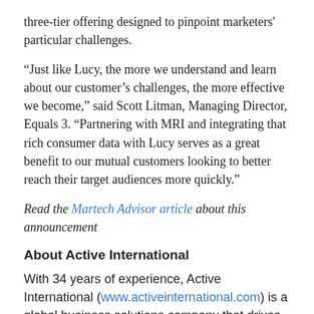three-tier offering designed to pinpoint marketers' particular challenges.
“Just like Lucy, the more we understand and learn about our customer’s challenges, the more effective we become,” said Scott Litman, Managing Director, Equals 3. “Partnering with MRI and integrating that rich consumer data with Lucy serves as a great benefit to our mutual customers looking to better reach their target audiences more quickly.”
Read the Martech Advisor article about this announcement
About Active International
With 34 years of experience, Active International (www.activeinternational.com) is a global business solutions company that drives performance and improves business outcomes for leading brands.  A data-driven company, with media as a core competency, Active